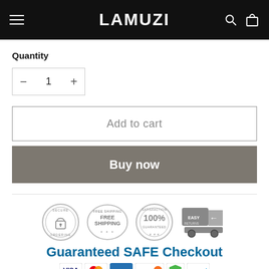LAMUZI
Quantity
− 1 +
Add to cart
Buy now
[Figure (infographic): Trust badges row: Secure Ordering (padlock circle), Free Shipping stamp, Satisfaction 100% Guaranteed, Easy Returns truck icon. Below: Guaranteed SAFE Checkout title in teal/blue bold text with bracket and payment method logos (VISA, Mastercard, Amex, Discover, Stripe, Norton, PayPal).]